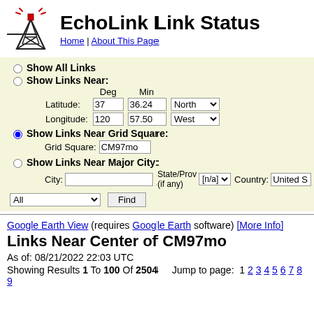EchoLink Link Status
Home | About This Page
Show All Links
Show Links Near:
Latitude: 37 deg 36.24 min North
Longitude: 120 deg 57.50 min West
Show Links Near Grid Square:
Grid Square: CM97mo
Show Links Near Major City:
City: State/Prov (if any): [n/a] Country: United S
All  Find
Google Earth View (requires Google Earth software) [More Info]
Links Near Center of CM97mo
As of: 08/21/2022 22:03 UTC
Showing Results 1 To 100 Of 2504   Jump to page: 1 2 3 4 5 6 7 8 9